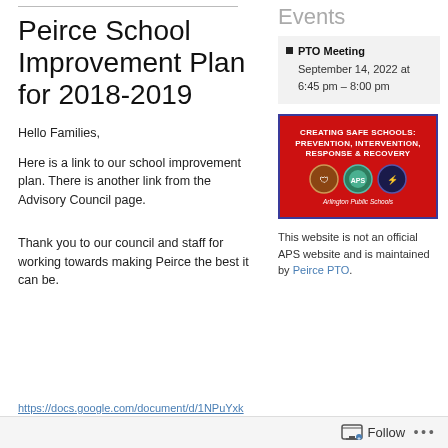Peirce School Improvement Plan for 2018-2019
Hello Families,
Here is a link to our school improvement plan. There is another link from the Advisory Council page.
Thank you to our council and staff for working towards making Peirce the best it can be.
Events
PTO Meeting September 14, 2022 at 6:45 pm – 8:00 pm
[Figure (illustration): Creating Safe Schools: Prevention, Intervention, Response & Recovery — Arlington Public Schools badge image on red background]
This website is not an official APS website and is maintained by Peirce PTO.
https://docs.google.com/document/d/1NPuYxk
Follow